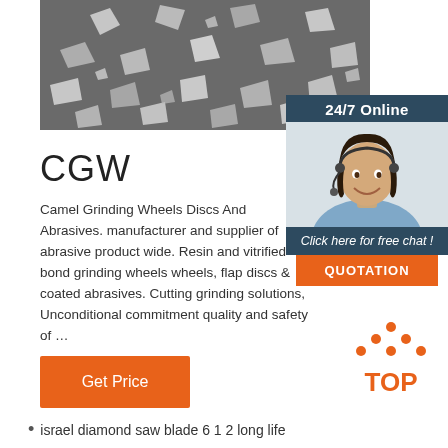[Figure (photo): Electron microscope image of abrasive grinding particles, grayscale, showing irregular angular white/grey particles on dark background]
[Figure (photo): 24/7 Online chat widget showing a woman with headset smiling, dark blue background with 'Click here for free chat!' text and orange QUOTATION button]
CGW
Camel Grinding Wheels Discs And Abrasives. manufacturer and supplier of abrasive product wide. Resin and vitrified bond grinding wheels wheels, flap discs & coated abrasives. Cutting grinding solutions, Unconditional commitment quality and safety of …
[Figure (other): Orange 'Get Price' button]
[Figure (other): TOP badge with orange dots forming an upward triangle and bold orange TOP text]
israel diamond saw blade 6 1 2 long life